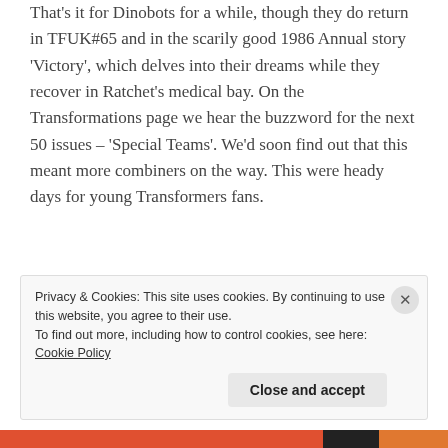That's it for Dinobots for a while, though they do return in TFUK#65 and in the scarily good 1986 Annual story 'Victory', which delves into their dreams while they recover in Ratchet's medical bay. On the Transformations page we hear the buzzword for the next 50 issues – 'Special Teams'. We'd soon find out that this meant more combiners on the way. This were heady days for young Transformers fans.
Next story
Previous
Advertisements
Privacy & Cookies: This site uses cookies. By continuing to use this website, you agree to their use.
To find out more, including how to control cookies, see here: Cookie Policy
Close and accept